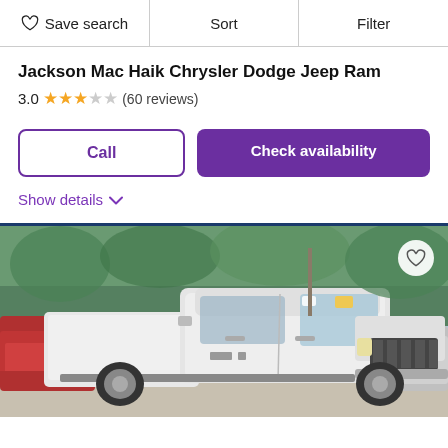Save search  |  Sort  |  Filter
Jackson Mac Haik Chrysler Dodge Jeep Ram
3.0 ★★★☆☆ (60 reviews)
Call | Check availability
Show details ∨
[Figure (photo): White Ram pickup truck (crew cab, heavy duty) parked in a dealership lot. A red pickup truck is visible on the left, another truck on the right. Green trees in the background. Yellow sticker on windshield. A heart/favorite icon button appears in the upper right of the image.]